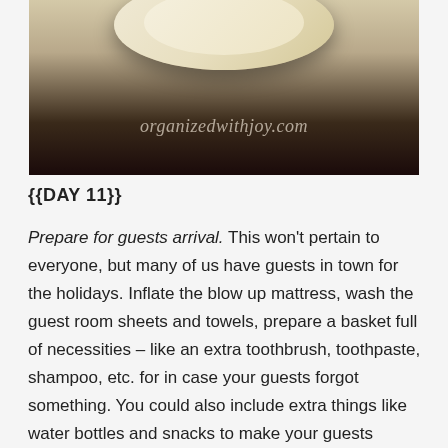[Figure (photo): A photograph of a white plate or cup on a dark background with a watermark reading 'organizedwithjoy.com']
{{DAY 11}}
Prepare for guests arrival. This won't pertain to everyone, but many of us have guests in town for the holidays. Inflate the blow up mattress, wash the guest room sheets and towels, prepare a basket full of necessities – like an extra toothbrush, toothpaste, shampoo, etc. for in case your guests forgot something. You could also include extra things like water bottles and snacks to make your guests comfortable. Another idea is to display a picture frame with the wifi network and password. Or go all out and provide slippers and/or a